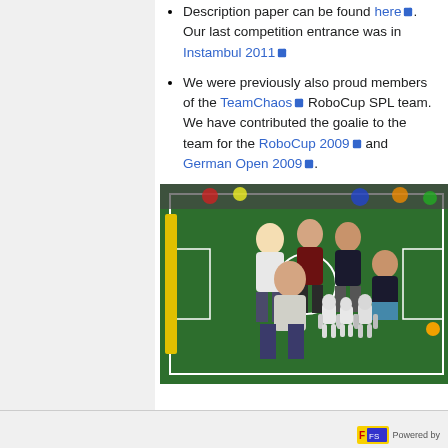Description paper can be found here. Our last competition entrance was in Instambul 2011
We were previously also proud members of the TeamChaos RoboCup SPL team. We have contributed the goalie to the team for the RoboCup 2009 and German Open 2009.
[Figure (photo): Group photo of team members posing on a green RoboCup soccer field with NAO robots in front of them. Several people are sitting and crouching on the green turf with white line markings. A yellow goal post is visible on the left.]